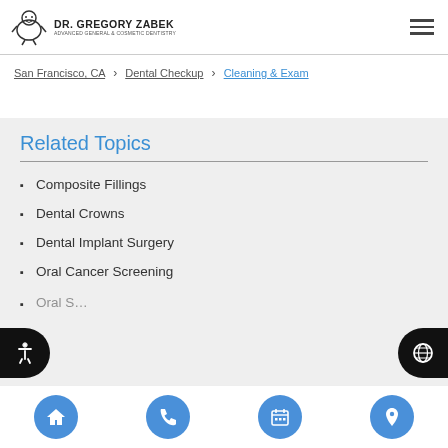DR. GREGORY ZABEK — ADVANCED GENERAL & COSMETIC DENTISTRY
San Francisco, CA > Dental Checkup > Cleaning & Exam
Related Topics
Composite Fillings
Dental Crowns
Dental Implant Surgery
Oral Cancer Screening